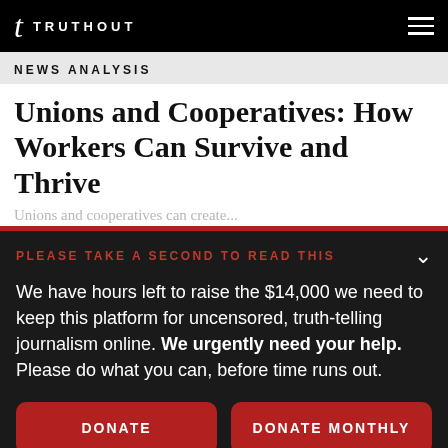t TRUTHOUT
NEWS ANALYSIS
Unions and Cooperatives: How Workers Can Survive and Thrive
PLEASE TAKE A SECOND TO READ THIS

We have hours left to raise the $14,000 we need to keep this platform for uncensored, truth-telling journalism online. We urgently need your help. Please do what you can, before time runs out.
DONATE
DONATE MONTHLY